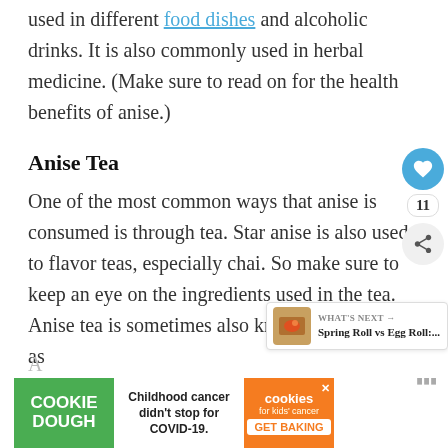used in different food dishes and alcoholic drinks. It is also commonly used in herbal medicine. (Make sure to read on for the health benefits of anise.)
Anise Tea
One of the most common ways that anise is consumed is through tea. Star anise is also used to flavor teas, especially chai. So make sure to keep an eye on the ingredients used in the tea. Anise tea is sometimes also known as tea.
[Figure (screenshot): Social widget with heart button (blue circle with heart icon), count label '11', and share button (grey circle with share icon)]
[Figure (screenshot): What's Next widget showing 'Spring Roll vs Egg Roll:...' with food thumbnail]
[Figure (screenshot): Cookie Dough ad banner: 'COOKIE DOUGH' green left panel, 'Childhood cancer didn't stop for COVID-19.' middle text, 'cookies for kids' cancer GET BAKING' orange right panel with cookies logo and close button]